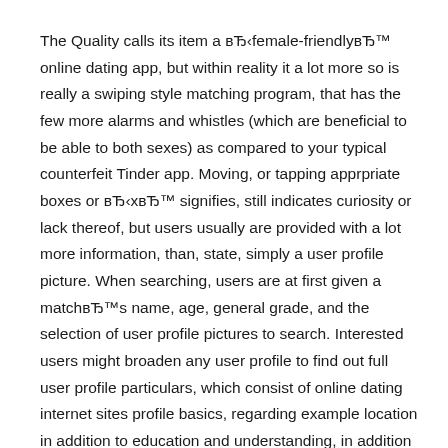The Quality calls its item a вЂ‌female-friendlyвЂ™ online dating app, but within reality it a lot more so is really a swiping style matching program, that has the few more alarms and whistles (which are beneficial to be able to both sexes) as compared to your typical counterfeit Tinder app. Moving, or tapping apprpriate boxes or вЂ‌хвЂ™ signifies, still indicates curiosity or lack thereof, but users usually are provided with a lot more information, than, state, simply a user profile picture. When searching, users are at first given a matchвЂ™s name, age, general grade, and the selection of user profile pictures to search. Interested users might broaden any user profile to find out full user profile particulars, which consist of online dating internet sites profile basics, regarding example location in addition to education and understanding, in addition to an open-ended about section, a great even more in depth grade malfunction (one grade each in addition to every for account, messages, and expert